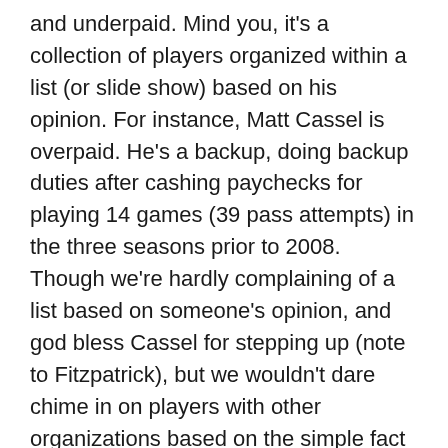and underpaid. Mind you, it's a collection of players organized within a list (or slide show) based on his opinion. For instance, Matt Cassel is overpaid. He's a backup, doing backup duties after cashing paychecks for playing 14 games (39 pass attempts) in the three seasons prior to 2008. Though we're hardly complaining of a list based on someone's opinion, and god bless Cassel for stepping up (note to Fitzpatrick), but we wouldn't dare chime in on players with other organizations based on the simple fact that we only "cover" the Bengals.